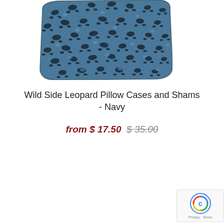[Figure (photo): A navy blue leopard print pillow/sham shown at an angle, with black and lighter blue spots on a steel blue background.]
Wild Side Leopard Pillow Cases and Shams - Navy
from $ 17.50  $ 35.00